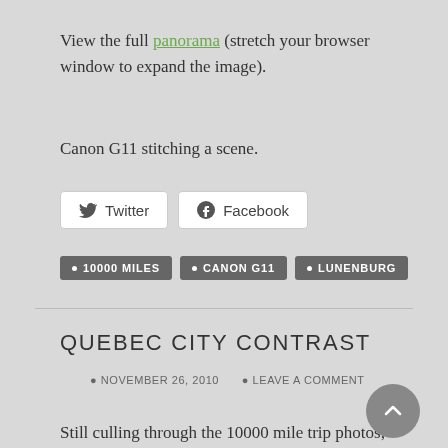View the full panorama (stretch your browser window to expand the image).
Canon G11 stitching a scene.
Twitter  Facebook
10000 MILES
CANON G11
LUNENBURG
QUEBEC CITY CONTRAST
NOVEMBER 26, 2010  LEAVE A COMMENT
Still culling through the 10000 mile trip photos,